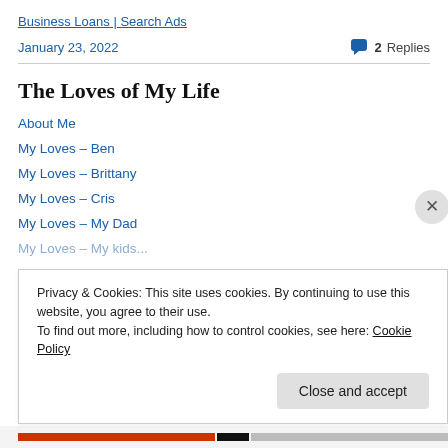Business Loans | Search Ads
January 23, 2022   💬 2 Replies
The Loves of My Life
About Me
My Loves – Ben
My Loves – Brittany
My Loves – Cris
My Loves – My Dad
Privacy & Cookies: This site uses cookies. By continuing to use this website, you agree to their use.
To find out more, including how to control cookies, see here: Cookie Policy
Close and accept